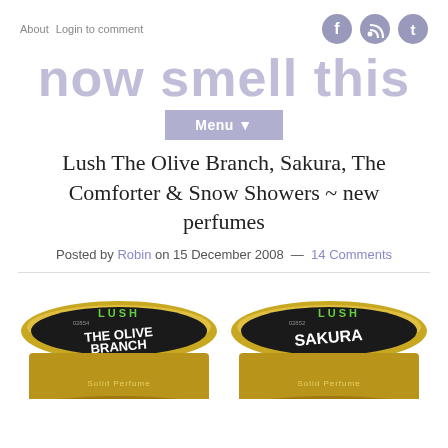About  Login to comment
now smell this
Menu ▼
Lush The Olive Branch, Sakura, The Comforter & Snow Showers ~ new perfumes
Posted by Robin on 15 December 2008 — 14 Comments
[Figure (photo): Two circular Lush solid perfume tins: 'The Olive Branch' (02854) on the left and 'Sakura' (02852) on the right, both with gold-rimmed black lids showing the Lush brand name]